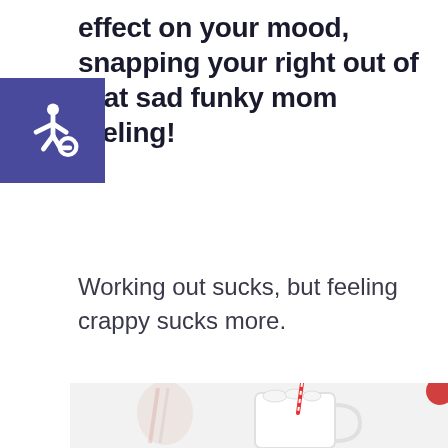effect on your mood, snapping your right out of that sad funky mom feeling!
[Figure (other): Accessibility icon - wheelchair symbol on blue/purple square background]
Working out sucks, but feeling crappy sucks more.
[Figure (photo): Photo of a white ceramic mug filled with hot chocolate, marshmallows, and candy canes; blurred candy canes in a jar in background; red ornament partially visible at right; white/light grey background.]